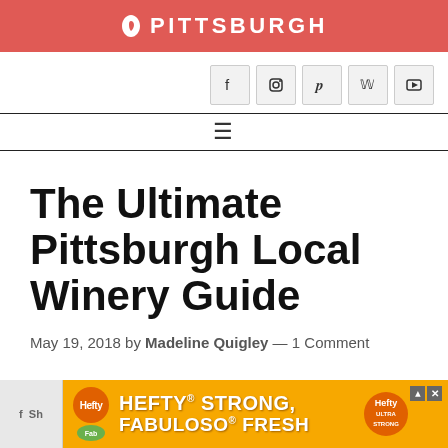PITTSBURGH
[Figure (other): Social media icon buttons: Facebook, Instagram, Pinterest, Twitter, YouTube]
The Ultimate Pittsburgh Local Winery Guide
May 19, 2018 by Madeline Quigley — 1 Comment
[Figure (other): Hefty STRONG, FABULOSO FRESH advertisement banner at bottom of page]